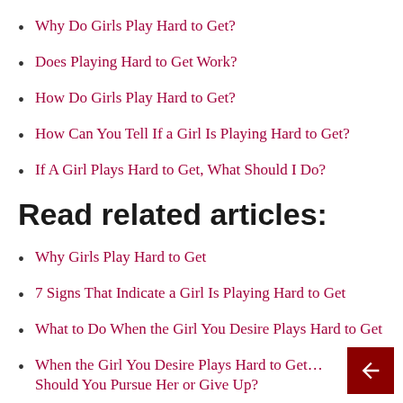Why Do Girls Play Hard to Get?
Does Playing Hard to Get Work?
How Do Girls Play Hard to Get?
How Can You Tell If a Girl Is Playing Hard to Get?
If A Girl Plays Hard to Get, What Should I Do?
Read related articles:
Why Girls Play Hard to Get
7 Signs That Indicate a Girl Is Playing Hard to Get
What to Do When the Girl You Desire Plays Hard to Get
When the Girl You Desire Plays Hard to Get… Should You Pursue Her or Give Up?